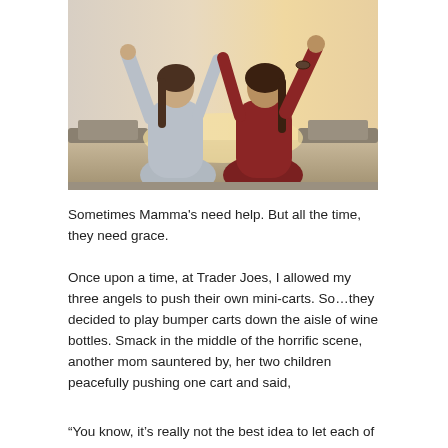[Figure (photo): Two young women seen from behind with arms raised in the air, one wearing a grey top and one wearing a dark red top, against a bright outdoor background with a warm sunset-like sky.]
Sometimes Mamma’s need help. But all the time, they need grace.
Once upon a time, at Trader Joes, I allowed my three angels to push their own mini-carts. So…they decided to play bumper carts down the aisle of wine bottles. Smack in the middle of the horrific scene, another mom sauntered by, her two children peacefully pushing one cart and said,
“You know, it’s really not the best idea to let each of your